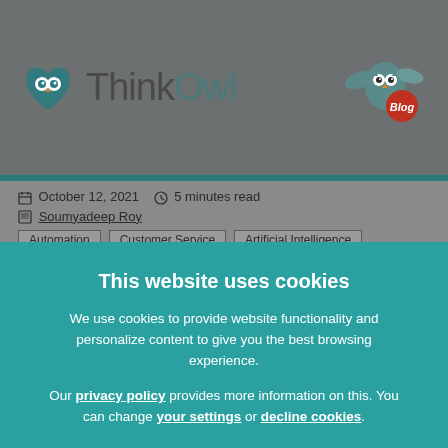ThinkOwl Blog
October 12, 2021  5 minutes read
Soumyadeep Roy
Automation  Customer Service  Artificial Intelligence
This website uses cookies
We use cookies to provide website functionality and personalize content to give you the best browsing experience.
Our privacy policy provides more information on this. You can change your settings or decline cookies.
Allow all cookies